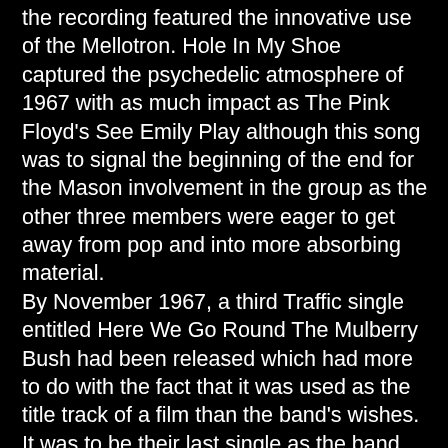the recording featured the innovative use of the Mellotron. Hole In My Shoe captured the psychedelic atmosphere of 1967 with as much impact as The Pink Floyd's See Emily Play although this song was to signal the beginning of the end for the Mason involvement in the group as the other three members were eager to get away from pop and into more absorbing material.
By November 1967, a third Traffic single entitled Here We Go Round The Mulberry Bush had been released which had more to do with the fact that it was used as the title track of a film than the band's wishes. It was to be their last single as the band turned their